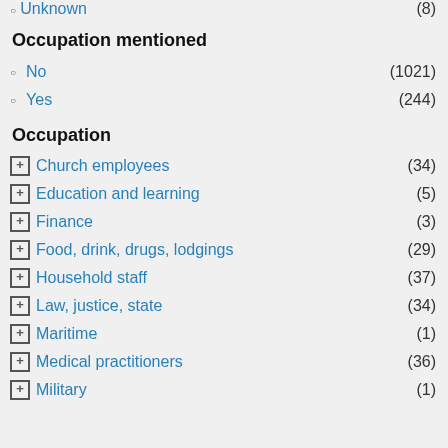Unknown (8)
Occupation mentioned
No (1021)
Yes (244)
Occupation
Church employees (34)
Education and learning (5)
Finance (3)
Food, drink, drugs, lodgings (29)
Household staff (37)
Law, justice, state (34)
Maritime (1)
Medical practitioners (36)
Military (1)